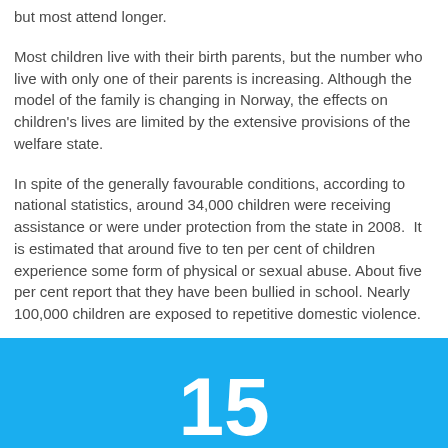but most attend longer.
Most children live with their birth parents, but the number who live with only one of their parents is increasing. Although the model of the family is changing in Norway, the effects on children's lives are limited by the extensive provisions of the welfare state.
In spite of the generally favourable conditions, according to national statistics, around 34,000 children were receiving assistance or were under protection from the state in 2008.  It is estimated that around five to ten per cent of children experience some form of physical or sexual abuse. About five per cent report that they have been bullied in school. Nearly 100,000 children are exposed to repetitive domestic violence.
15